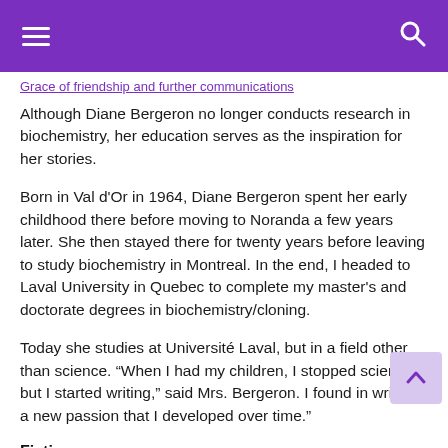[hamburger menu] [search icon]
Grace of friendship and further communications
Although Diane Bergeron no longer conducts research in biochemistry, her education serves as the inspiration for her stories.
Born in Val d'Or in 1964, Diane Bergeron spent her early childhood there before moving to Noranda a few years later. She then stayed there for twenty years before leaving to study biochemistry in Montreal. In the end, I headed to Laval University in Quebec to complete my master's and doctorate degrees in biochemistry/cloning.
Today she studies at Université Laval, but in a field other than science. “When I had my children, I stopped science, but I started writing,” said Mrs. Bergeron. I found in writing a new passion that I developed over time.”
Fiction
Rather than abandon science entirely, she decided to use her